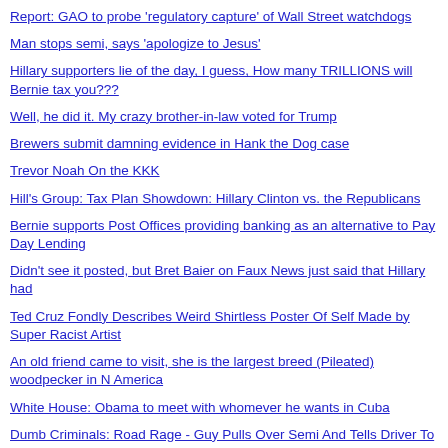Report: GAO to probe 'regulatory capture' of Wall Street watchdogs
Man stops semi, says 'apologize to Jesus'
Hillary supporters lie of the day, I guess, How many TRILLIONS will Bernie tax you???
Well, he did it. My crazy brother-in-law voted for Trump
Brewers submit damning evidence in Hank the Dog case
Trevor Noah On the KKK
Hill's Group: Tax Plan Showdown: Hillary Clinton vs. the Republicans
Bernie supports Post Offices providing banking as an alternative to Pay Day Lending
Didn't see it posted, but Bret Baier on Faux News just said that Hillary had
Ted Cruz Fondly Describes Weird Shirtless Poster Of Self Made by Super Racist Artist
An old friend came to visit, she is the largest breed (Pileated) woodpecker in N America
White House: Obama to meet with whomever he wants in Cuba
Dumb Criminals: Road Rage - Guy Pulls Over Semi And Tells Driver To "Apologize To Jesus"